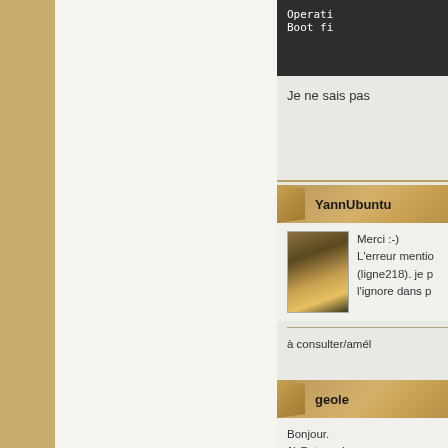[Figure (screenshot): Terminal/code block showing partial text: 'Operati...' and 'Boot fi...' on dark background]
Je ne sais pas
YannUbuntu
[Figure (photo): Small avatar photo showing a drink/glass with warm sunset tones]
Merci :-)
L'erreur mentio...
(ligne218). je p...
l'ignore dans p...
à consulter/amél...
geole
Bonjour.
1) Retour du pr...